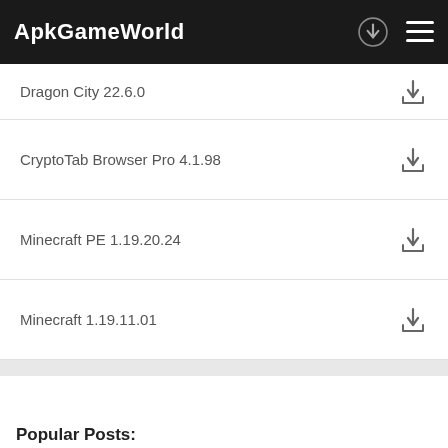ApkGameWorld
Dragon City 22.6.0
CryptoTab Browser Pro 4.1.98
Minecraft PE 1.19.20.24
Minecraft 1.19.11.01
Popular Posts:
RFS - Real Flight Simulator 1.5.9